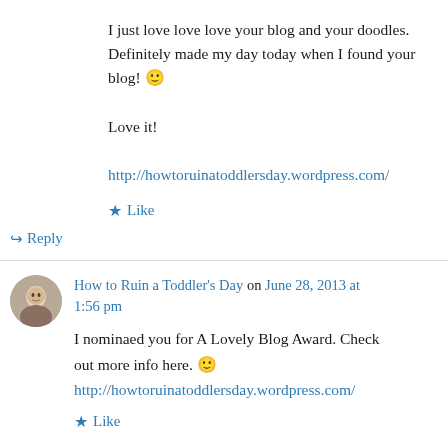I just love love love your blog and your doodles. Definitely made my day today when I found your blog! 🙂
Love it!
http://howtoruinatoddlersday.wordpress.com/
★ Like
↪ Reply
How to Ruin a Toddler's Day on June 28, 2013 at 1:56 pm
I nominaed you for A Lovely Blog Award. Check out more info here. 🙂
http://howtoruinatoddlersday.wordpress.com/
★ Like